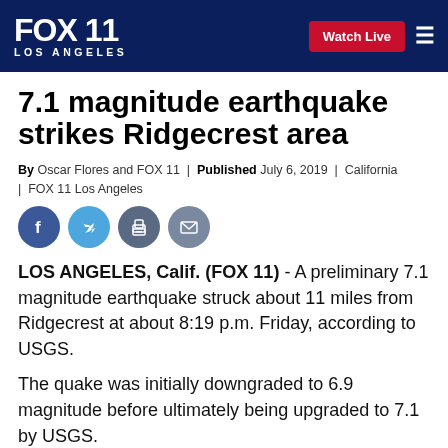FOX 11 LOS ANGELES | Watch Live
7.1 magnitude earthquake strikes Ridgecrest area
By Oscar Flores and FOX 11 | Published July 6, 2019 | California | FOX 11 Los Angeles
[Figure (infographic): Social sharing icons: Facebook, Twitter, Print, Email]
LOS ANGELES, Calif. (FOX 11) - A preliminary 7.1 magnitude earthquake struck about 11 miles from Ridgecrest at about 8:19 p.m. Friday, according to USGS.
The quake was initially downgraded to 6.9 magnitude before ultimately being upgraded to 7.1 by USGS.